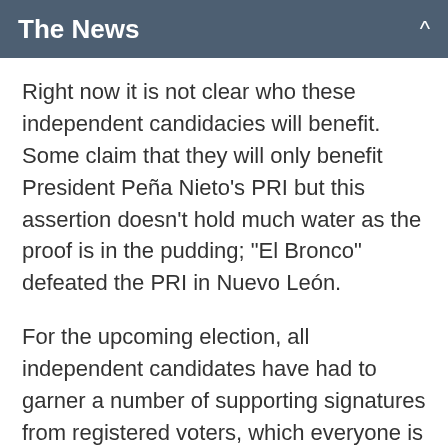The News
Right now it is not clear who these independent candidacies will benefit. Some claim that they will only benefit President Peña Nieto's PRI but this assertion doesn't hold much water as the proof is in the pudding; “El Bronco” defeated the PRI in Nuevo León.
For the upcoming election, all independent candidates have had to garner a number of supporting signatures from registered voters, which everyone is claiming was difficult to do mainly because these are state, not national, elections.